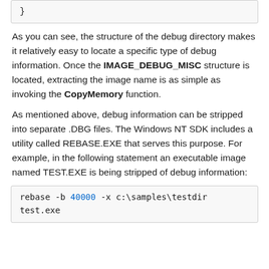}
As you can see, the structure of the debug directory makes it relatively easy to locate a specific type of debug information. Once the IMAGE_DEBUG_MISC structure is located, extracting the image name is as simple as invoking the CopyMemory function.
As mentioned above, debug information can be stripped into separate .DBG files. The Windows NT SDK includes a utility called REBASE.EXE that serves this purpose. For example, in the following statement an executable image named TEST.EXE is being stripped of debug information:
rebase -b 40000 -x c:\samples\testdir test.exe